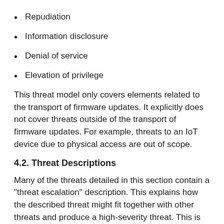Repudiation
Information disclosure
Denial of service
Elevation of privilege
This threat model only covers elements related to the transport of firmware updates. It explicitly does not cover threats outside of the transport of firmware updates. For example, threats to an IoT device due to physical access are out of scope.
4.2. Threat Descriptions
Many of the threats detailed in this section contain a "threat escalation" description. This explains how the described threat might fit together with other threats and produce a high-severity threat. This is important because some of the described threats may seem low severity but could be used